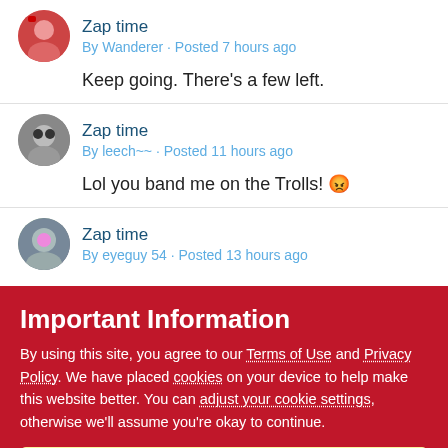Zap time
By Wanderer · Posted 7 hours ago
Keep going.  There's a few left.
Zap time
By leech~~ · Posted 11 hours ago
Lol you band me on the Trolls! 😠
Zap time
By eyeguy 54 · Posted 13 hours ago
Important Information
By using this site, you agree to our Terms of Use and Privacy Policy. We have placed cookies on your device to help make this website better. You can adjust your cookie settings, otherwise we'll assume you're okay to continue.
✔  I accept